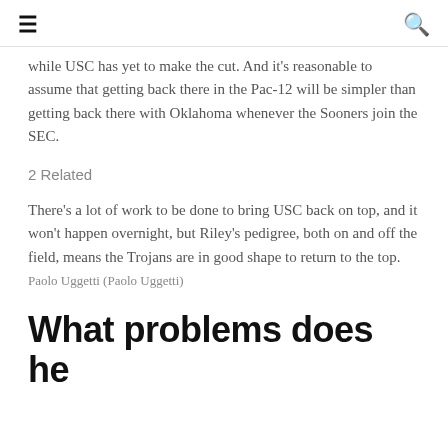≡  🔍
while USC has yet to make the cut. And it's reasonable to assume that getting back there in the Pac-12 will be simpler than getting back there with Oklahoma whenever the Sooners join the SEC.
2 Related
There's a lot of work to be done to bring USC back on top, and it won't happen overnight, but Riley's pedigree, both on and off the field, means the Trojans are in good shape to return to the top. Paolo Uggetti (Paolo Uggetti)
What problems does he